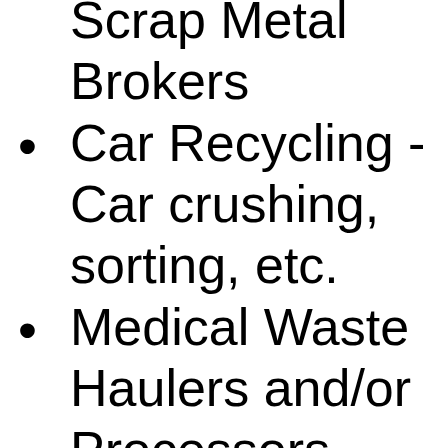Scrap Metal Brokers
Car Recycling - Car crushing, sorting, etc.
Medical Waste Haulers and/or Processors - These